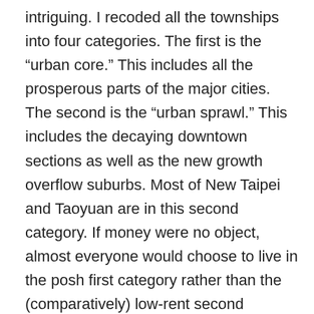intriguing. I recoded all the townships into four categories. The first is the “urban core.” This includes all the prosperous parts of the major cities. The second is the “urban sprawl.” This includes the decaying downtown sections as well as the new growth overflow suburbs. Most of New Taipei and Taoyuan are in this second category. If money were no object, almost everyone would choose to live in the posh first category rather than the (comparatively) low-rent second category. The third category includes rural Min-nan townships. This category is dominated by the stretch of townships in the rural south from Changhua to Pingtung. The fourth category is much smaller and includes all the other rural townships. This group is dominated by predominantly Hakka townships, though it also includes a large number of (sparely populated) Aboriginal townships. There lines are different,